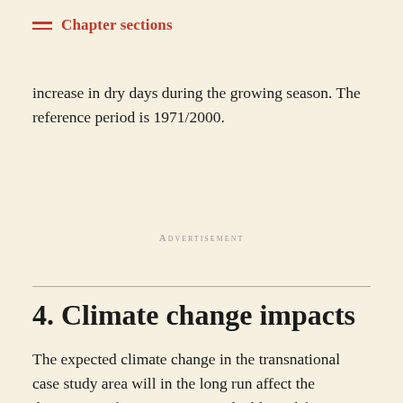Chapter sections
increase in dry days during the growing season. The reference period is 1971/2000.
Advertisement
4. Climate change impacts
The expected climate change in the transnational case study area will in the long run affect the dominance of tree species. A valuable tool for foresters is given by the climate envelopes where presence/absence data on tree species can be